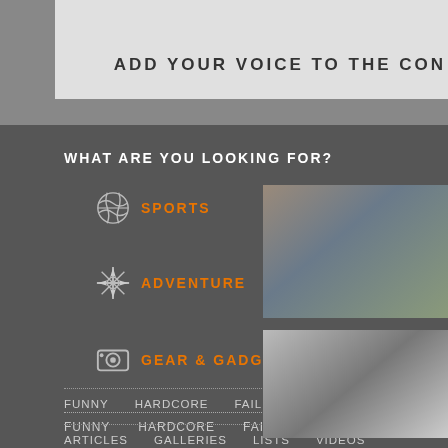ADD YOUR VOICE TO THE CON
WHAT ARE YOU LOOKING FOR?
SPORTS
SPEED
ADVENTURE
EXTREME
GEAR & GADGETS
FUNNY   HARDCORE   FAIL   INSPIRING
ARTICLES   GALLERIES   LISTS   VIDEOS
EDITOR'S FA
[Figure (photo): Person in outdoor gear, color photo]
[Figure (photo): Person in black and white photo, appears to be boxing or fighting]
© 2011 Unilever   Terms of UsePrivacy Policy|  Contact Us
FOLLOW US